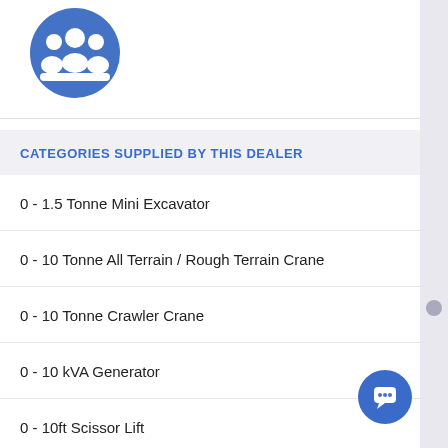[Figure (illustration): Blue circular icon with white silhouettes of three people (group/community icon)]
CATEGORIES SUPPLIED BY THIS DEALER
0 - 1.5 Tonne Mini Excavator
0 - 10 Tonne All Terrain / Rough Terrain Crane
0 - 10 Tonne Crawler Crane
0 - 10 kVA Generator
0 - 10ft Scissor Lift
0 - 14 Tonne Curtainsider / Tautliner Truck